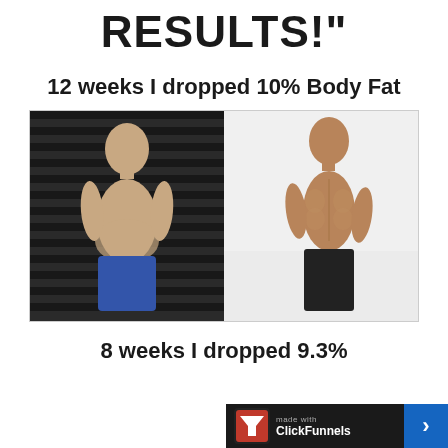RESULTS!"
12 weeks I dropped 10% Body Fat
[Figure (photo): Before and after fitness transformation photos of a middle-aged man. Left photo shows him shirtless with some body fat, standing in front of metal shutters. Right photo shows him shirtless with visible muscle definition against a white background.]
8 weeks I dropped 9.3%
[Figure (logo): ClickFunnels made with badge in bottom right corner - dark background with ClickFunnels logo and blue arrow]